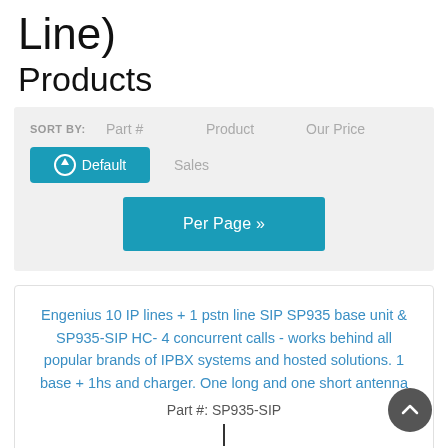Line)
Products
SORT BY:  Part #  Product  Our Price  ⊕ Default  Sales  Per Page »
Engenius 10 IP lines + 1 pstn line SIP SP935 base unit & SP935-SIP HC- 4 concurrent calls - works behind all popular brands of IPBX systems and hosted solutions. 1 base + 1hs and charger. One long and one short antenna
Part #: SP935-SIP